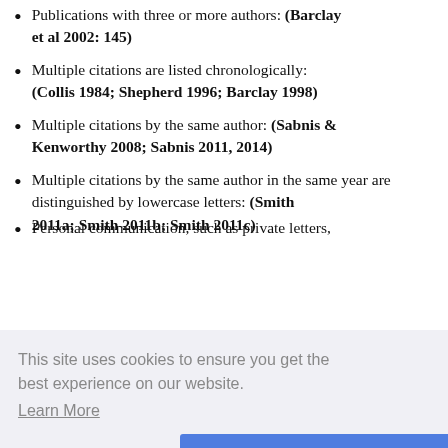Publications with three or more authors: (Barclay et al 2002: 145)
Multiple citations are listed chronologically: (Collis 1984; Shepherd 1996; Barclay 1998)
Multiple citations by the same author: (Sabnis & Kenworthy 2008; Sabnis 2011, 2014)
Multiple citations by the same author in the same year are distinguished by lowercase letters: (Smith 2011a; Smith 2011b; Smith 2011c)
This site uses cookies to ensure you get the best experience on our website.
Learn More
Refuse Cookies   Got It!
Personal communication, such as private letters,